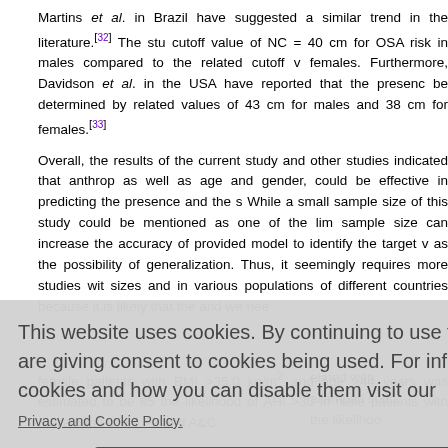Martins et al. in Brazil have suggested a similar trend in the literature.[32] The study used a cutoff value of NC = 40 cm for OSA risk in males compared to the related cutoff value for females. Furthermore, Davidson et al. in the USA have reported that the presence of OSA can be determined by related values of 43 cm for males and 38 cm for females.[33]
Overall, the results of the current study and other studies indicated that anthropometric factors, as well as age and gender, could be effective in predicting the presence and the severity of OSA. While a small sample size of this study could be mentioned as one of the limitations, a larger sample size can increase the accuracy of provided model to identify the target variables, as well as the possibility of generalization. Thus, it seemingly requires more studies with larger sample sizes and in various populations of different countries because it is likely that the... and we need...
...related with Mallampati score... the likelihood...
female patients with BMI >35.0 kg/m² and age >44 years was estimated to be 85%... the likelihood of AHI >30 in male patients with Mallampati score >2 and AC...